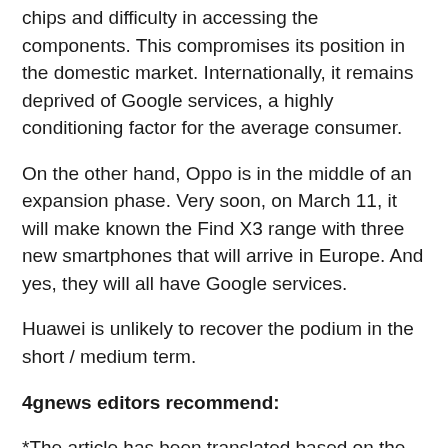chips and difficulty in accessing the components. This compromises its position in the domestic market. Internationally, it remains deprived of Google services, a highly conditioning factor for the average consumer.
On the other hand, Oppo is in the middle of an expansion phase. Very soon, on March 11, it will make known the Find X3 range with three new smartphones that will arrive in Europe. And yes, they will all have Google services.
Huawei is unlikely to recover the podium in the short / medium term.
4gnews editors recommend:
*The article has been translated based on the content of https://4gnews.pt/oppo-destrona-a-huawei-no-maior-mercado-mundial-de-smartphones/ by 4gnews.pt